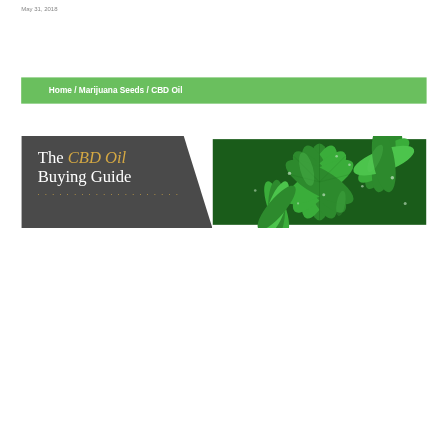May 31, 2018
Home / Marijuana Seeds / CBD Oil
[Figure (illustration): Banner image for 'The CBD Oil Buying Guide' featuring white and orange text on a dark gray background on the left, and a close-up photo of cannabis leaves with water droplets on the right. A dotted orange line appears below the text.]